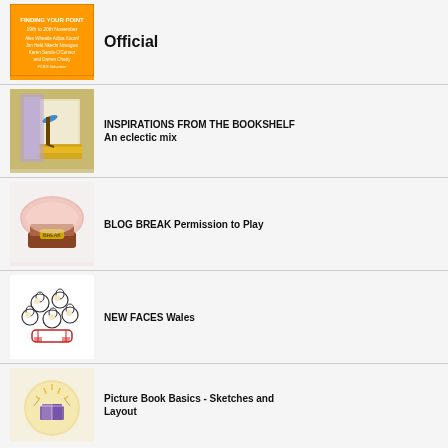[Figure (illustration): Book cover with orange background - Finding Your Point event flyer]
Official
[Figure (photo): Hand with paintbrush painting yellow on wood]
INSPIRATIONS FROM THE BOOKSHELF An eclectic mix
[Figure (illustration): Pink bowl with gold tin labelled BREAK]
BLOG BREAK Permission to Play
[Figure (illustration): Cartoon drawing of group of people sitting together]
NEW FACES Wales
[Figure (illustration): Circular illustration of open book with rays of light]
Picture Book Basics - Sketches and Layout